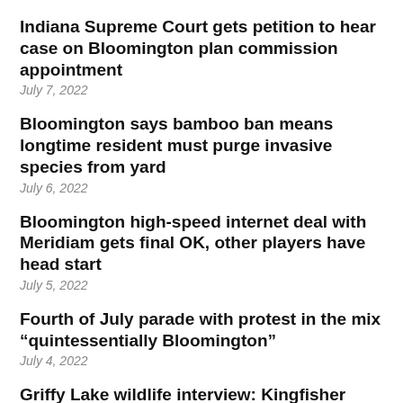Indiana Supreme Court gets petition to hear case on Bloomington plan commission appointment
July 7, 2022
Bloomington says bamboo ban means longtime resident must purge invasive species from yard
July 6, 2022
Bloomington high-speed internet deal with Meridiam gets final OK, other players have head start
July 5, 2022
Fourth of July parade with protest in the mix “quintessentially Bloomington”
July 4, 2022
Griffy Lake wildlife interview: Kingfisher weighs in on belts versus suspenders